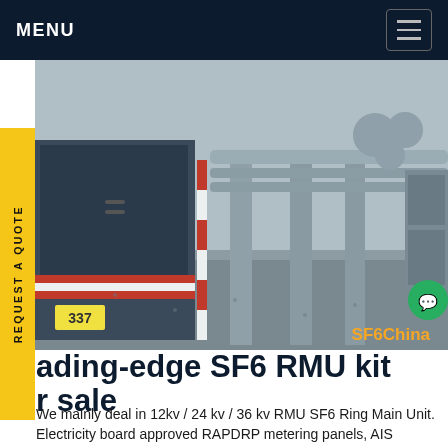MENU
[Figure (photo): Industrial electrical substation outdoor scene with a large truck/trailer on the left side and multiple cylindrical pipes, columns, and electrical equipment in the background. SF6China watermark in orange at bottom right.]
Leading-edge SF6 RMU kit for sale
We mainly deal in 12kv / 24 kv / 36 kv RMU SF6 Ring Main Unit. Electricity board approved RAPDRP metering panels, AIS Switchgears – HT panel 11kv /24 kv/36 kv, oil and dry transformers, Compact